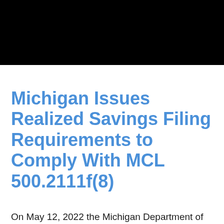Michigan Issues Realized Savings Filing Requirements to Comply With MCL 500.2111f(8)
On May 12, 2022 the Michigan Department of Insurance and Financial Services issued an email